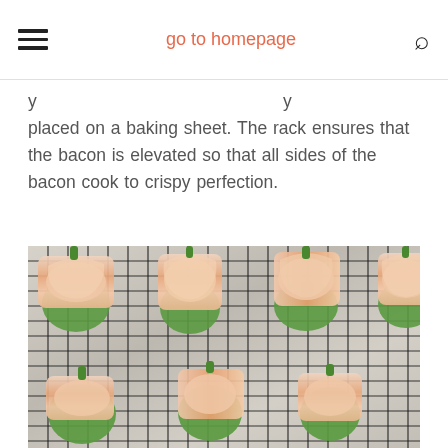go to homepage
placed on a baking sheet. The rack ensures that the bacon is elevated so that all sides of the bacon cook to crispy perfection.
[Figure (photo): Bacon-wrapped jalapeño poppers placed on a wire rack over a foil-lined baking sheet, showing the poppers before baking with raw bacon wrapped around green jalapeños.]